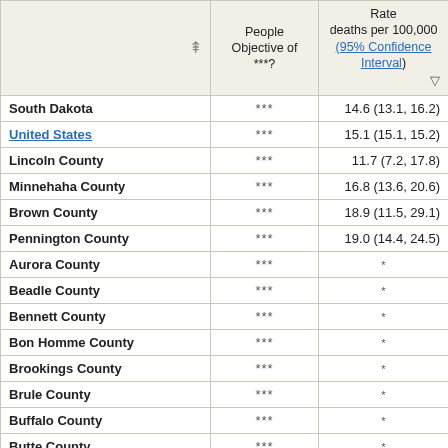|  | People Objective of ***? | Rate deaths per 100,000 (95% Confidence Interval) |
| --- | --- | --- |
| South Dakota | *** | 14.6 (13.1, 16.2) |
| United States | *** | 15.1 (15.1, 15.2) |
| Lincoln County | *** | 11.7 (7.2, 17.8) |
| Minnehaha County | *** | 16.8 (13.6, 20.6) |
| Brown County | *** | 18.9 (11.5, 29.1) |
| Pennington County | *** | 19.0 (14.4, 24.5) |
| Aurora County | *** | * |
| Beadle County | *** | * |
| Bennett County | *** | * |
| Bon Homme County | *** | * |
| Brookings County | *** | * |
| Brule County | *** | * |
| Buffalo County | *** | * |
| Butte County | *** | * |